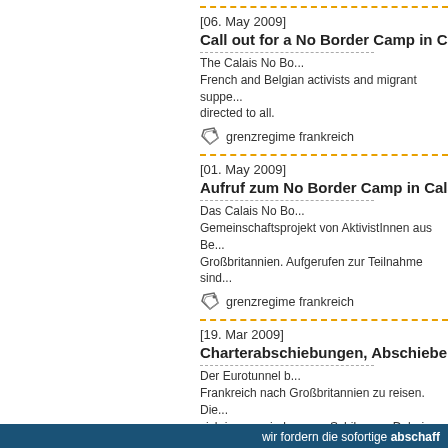[06. May 2009]
Call out for a No Border Camp in Calais
The Calais No Bo... French and Belgian activists and migrant suppe... directed to all.
grenzregime frankreich
[01. May 2009]
Aufruf zum No Border Camp in Calais (
Das Calais No Bo... Gemeinschaftsprojekt von AktivistInnen aus Be... Großbritannien. Aufgerufen zur Teilnahme sind...
grenzregime frankreich
[19. Mar 2009]
Charterabschiebungen, Abschiebelage
Der Eurotunnel b... Frankreich nach Großbritannien zu reisen. Die... sich immer wieder neue Schikanen. Dabei sind...
grenzregime grossbritannien
wir fordern die sofortige abschaff